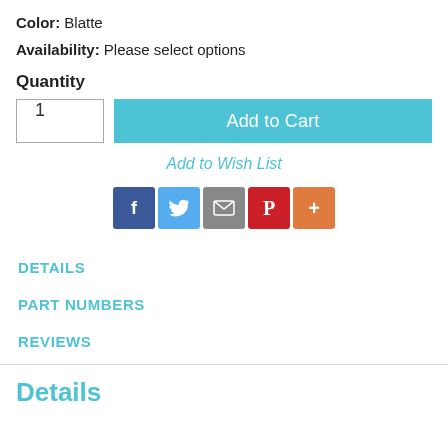Color: Blatte
Availability: Please select options
Quantity
Add to Cart
Add to Wish List
[Figure (other): Social sharing icons: Facebook (blue), Twitter (light blue), Email (gray), Pinterest (red), More (orange)]
DETAILS
PART NUMBERS
REVIEWS
Details